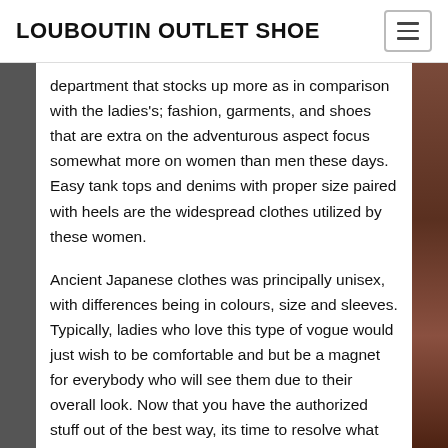LOUBOUTIN OUTLET SHOE
department that stocks up more as in comparison with the ladies's; fashion, garments, and shoes that are extra on the adventurous aspect focus somewhat more on women than men these days. Easy tank tops and denims with proper size paired with heels are the widespread clothes utilized by these women.
Ancient Japanese clothes was principally unisex, with differences being in colours, size and sleeves. Typically, ladies who love this type of vogue would just wish to be comfortable and but be a magnet for everybody who will see them due to their overall look. Now that you have the authorized stuff out of the best way, its time to resolve what kind of girl's